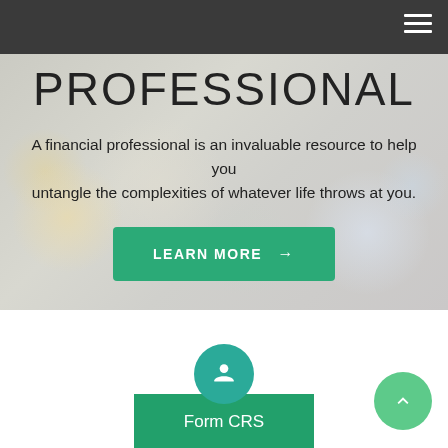PROFESSIONAL
A financial professional is an invaluable resource to help you untangle the complexities of whatever life throws at you.
[Figure (other): Green 'LEARN MORE' button with arrow]
[Figure (infographic): Teal circular icon with person silhouette above green 'Form CRS' button]
[Figure (other): Green circular back-to-top button with upward chevron arrow]